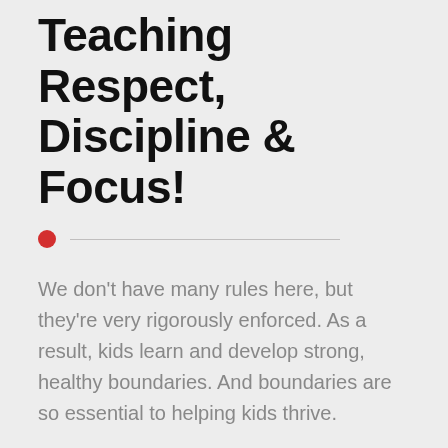Teaching Respect, Discipline & Focus!
We don't have many rules here, but they're very rigorously enforced. As a result, kids learn and develop strong, healthy boundaries. And boundaries are so essential to helping kids thrive.
Discipline and respect flourish within a few short weeks. This is why Parents LOVE our Pre-School Martial Arts Program here in Mount Laurel.